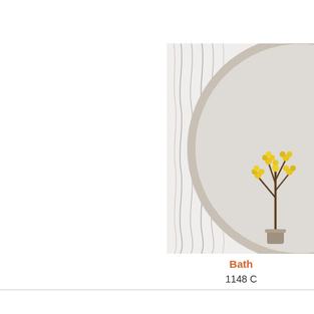[Figure (photo): Partial view of a round bathroom mirror with a beige/silver frame, reflecting a yellow flowering branch in a vase. Background shows white wallpaper with wavy gray line pattern. Image is cropped at the right edge of the page.]
Bath
1148 C